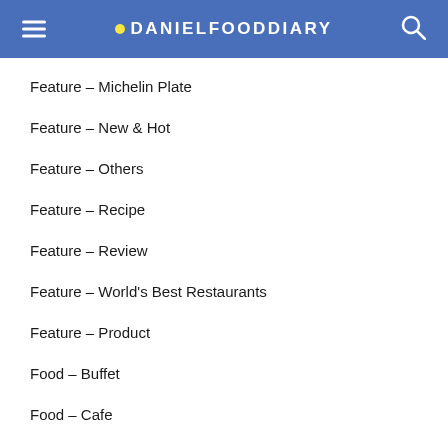DANIELFOODDIARY
Feature – Michelin Plate
Feature – New & Hot
Feature – Others
Feature – Recipe
Feature – Review
Feature – World's Best Restaurants
Feature – Product
Food – Buffet
Food – Cafe
Food – Chinese
Food – Confectionary
Food – Desserts
Food – European